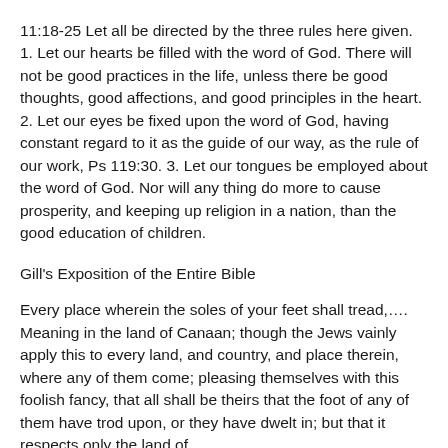11:18-25 Let all be directed by the three rules here given. 1. Let our hearts be filled with the word of God. There will not be good practices in the life, unless there be good thoughts, good affections, and good principles in the heart. 2. Let our eyes be fixed upon the word of God, having constant regard to it as the guide of our way, as the rule of our work, Ps 119:30. 3. Let our tongues be employed about the word of God. Nor will any thing do more to cause prosperity, and keeping up religion in a nation, than the good education of children.
Gill's Exposition of the Entire Bible
Every place wherein the soles of your feet shall tread,…. Meaning in the land of Canaan; though the Jews vainly apply this to every land, and country, and place therein, where any of them come; pleasing themselves with this foolish fancy, that all shall be theirs that the foot of any of them have trod upon, or they have dwelt in; but that it respects only the land of